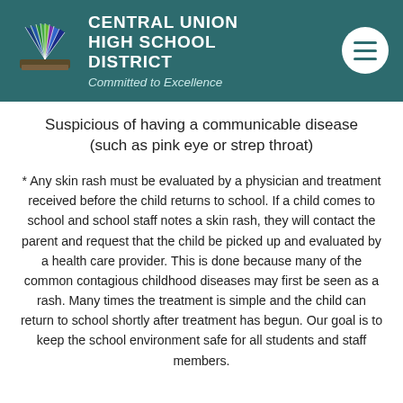CENTRAL UNION HIGH SCHOOL DISTRICT
Committed to Excellence
Suspicious of having a communicable disease (such as pink eye or strep throat)
* Any skin rash must be evaluated by a physician and treatment received before the child returns to school. If a child comes to school and school staff notes a skin rash, they will contact the parent and request that the child be picked up and evaluated by a health care provider. This is done because many of the common contagious childhood diseases may first be seen as a rash. Many times the treatment is simple and the child can return to school shortly after treatment has begun. Our goal is to keep the school environment safe for all students and staff members.